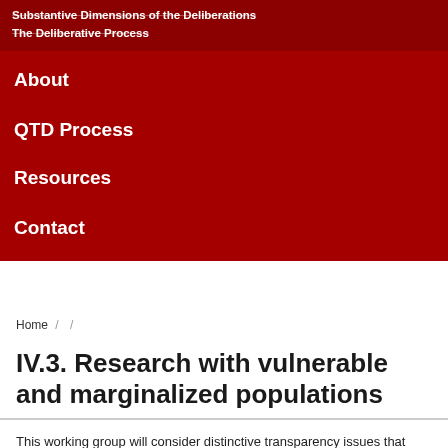Substantive Dimensions of the Deliberations
The Deliberative Process
About
QTD Process
Resources
Contact
Home / /
IV.3. Research with vulnerable and marginalized populations
This working group will consider distinctive transparency issues that arise for research conducted with vulnerable or marginalized